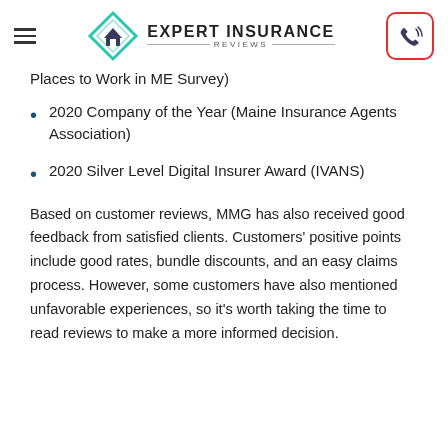Expert Insurance Reviews
Places to Work in ME Survey)
2020 Company of the Year (Maine Insurance Agents Association)
2020 Silver Level Digital Insurer Award (IVANS)
Based on customer reviews, MMG has also received good feedback from satisfied clients. Customers' positive points include good rates, bundle discounts, and an easy claims process. However, some customers have also mentioned unfavorable experiences, so it's worth taking the time to read reviews to make a more informed decision.